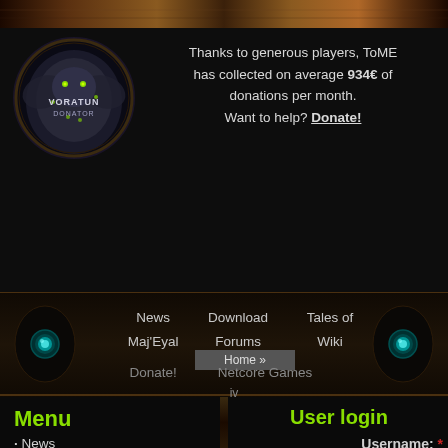[Figure (illustration): Top decorative banner with dark brown/gold gradient]
[Figure (illustration): Voratun Donator badge/logo - a silver dragon emblem with green eyes and decorative frame]
Thanks to generous players, ToME has collected on average 934€ of donations per month. Want to help? Donate!
[Figure (illustration): Navigation bar with dark wood/stone texture, two glowing teal orbs on sides, menu links: News, Download, Tales of Maj'Eyal, Forums, Wiki, Donate!, Netcore Games, Home]
Menu
News
Download
Tales of Maj'Eyal
User login
Username: *
Username